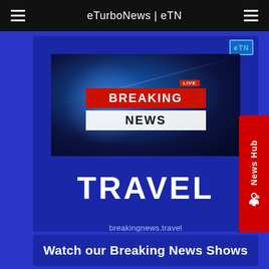eTurboNews | eTN
[Figure (screenshot): Breaking News Travel promotional image with globe background, red BREAKING banner, white NEWS banner, large TRAVEL text, and breakingnews.travel URL. Includes GTN logo badge in upper right corner.]
News Hub
Watch our Breaking News Shows